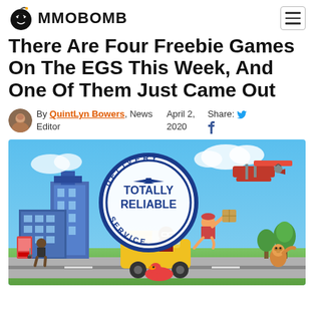MMOBOMB
There Are Four Freebie Games On The EGS This Week, And One Of Them Just Came Out
By QuintLyn Bowers, News Editor | April 2, 2020 | Share: Twitter, Facebook
[Figure (screenshot): Hero image showing the game 'Totally Reliable Delivery Service' with colorful cartoon characters, a yellow golf cart, a biplane, and a circular logo with text 'DELIVERY TOTALLY RELIABLE SERVICE']